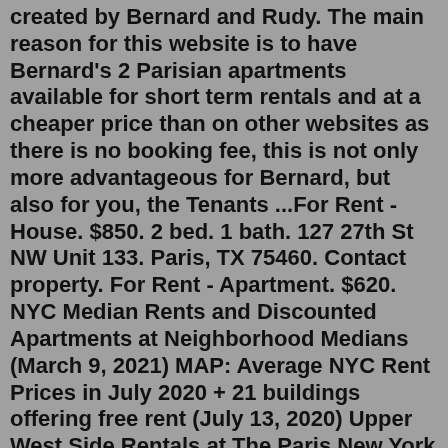created by Bernard and Rudy. The main reason for this website is to have Bernard's 2 Parisian apartments available for short term rentals and at a cheaper price than on other websites as there is no booking fee, this is not only more advantageous for Bernard, but also for you, the Tenants ...For Rent - House. $850. 2 bed. 1 bath. 127 27th St NW Unit 133. Paris, TX 75460. Contact property. For Rent - Apartment. $620. NYC Median Rents and Discounted Apartments at Neighborhood Medians (March 9, 2021) MAP: Average NYC Rent Prices in July 2020 + 21 buildings offering free rent (July 13, 2020) Upper West Side Rentals at The Paris New York Offer 2 Months Free on 18-Month Lease (December 13, 2018)Bus Rental Paris can offer you a lot of coaches, minibuses and vans so that groups of 8 people to groups of 56 people can travel with us without problems. Reliable and economical, our coaches offer low-cost, reliable and high-quality performance. Your security matters to us te most, this is the reason why our vehicles are being checked on a ...18 reviews of